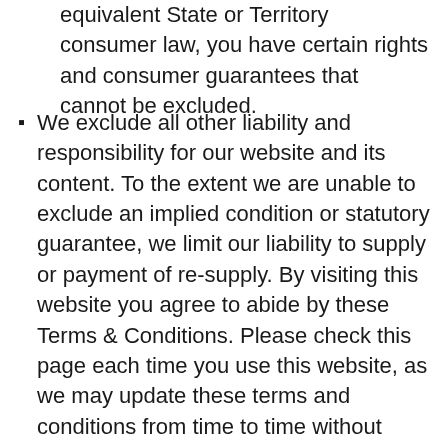equivalent State or Territory consumer law, you have certain rights and consumer guarantees that cannot be excluded.
We exclude all other liability and responsibility for our website and its content. To the extent we are unable to exclude an implied condition or statutory guarantee, we limit our liability to supply or payment of re-supply. By visiting this website you agree to abide by these Terms & Conditions. Please check this page each time you use this website, as we may update these terms and conditions from time to time without notice. This website is owned by Ngaanyatjarra Pitjantjatjara Yankunytjatjara Women's Council Aboriginal Corporation (NPY Women's Council / NPYWC). 3 Wilkinson St, Alice Springs, Northern Territory. ICN –